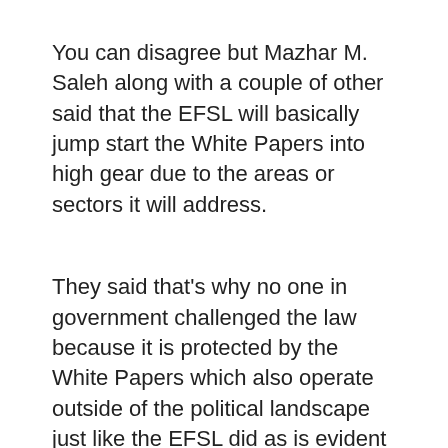You can disagree but Mazhar M. Saleh along with a couple of other said that the EFSL will basically jump start the White Papers into high gear due to the areas or sectors it will address.
They said that's why no one in government challenged the law because it is protected by the White Papers which also operate outside of the political landscape just like the EFSL did as is evident from it flying through unchallenged and published without a seated government.
I stand by my statements. Because I read there was a clause utilized that allowed the EFSL the protective measures to be pushed through without any problems. I have to look for it. IMO